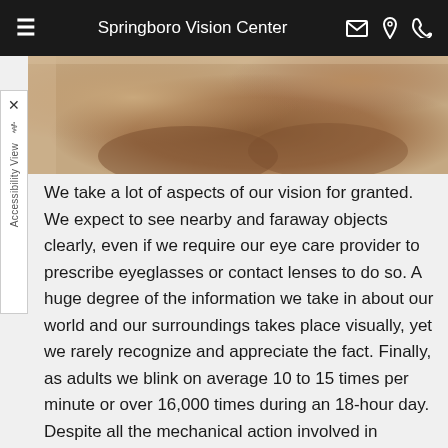Springboro Vision Center
[Figure (photo): Close-up photo of a person with arms crossed, skin tones visible, cropped at upper body]
We take a lot of aspects of our vision for granted. We expect to see nearby and faraway objects clearly, even if we require our eye care provider to prescribe eyeglasses or contact lenses to do so. A huge degree of the information we take in about our world and our surroundings takes place visually, yet we rarely recognize and appreciate the fact. Finally, as adults we blink on average 10 to 15 times per minute or over 16,000 times during an 18-hour day. Despite all the mechanical action involved in blinking, moving one's eyes to follow a moving object, or even focusing our eyes to see a small object, most of us rarely experience eye pain. Thus, when we do experience eye